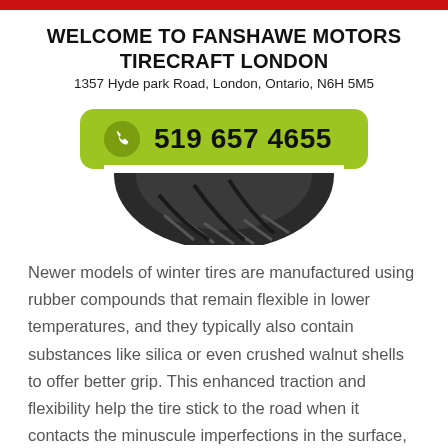WELCOME TO FANSHAWE MOTORS TIRECRAFT LONDON
1357 Hyde park Road, London, Ontario, N6H 5M5
[Figure (infographic): Green rounded button with phone icon and number 519 657 4655]
[Figure (photo): Bottom portion of a black car tire showing tread pattern]
Newer models of winter tires are manufactured using rubber compounds that remain flexible in lower temperatures, and they typically also contain substances like silica or even crushed walnut shells to offer better grip. This enhanced traction and flexibility help the tire stick to the road when it contacts the minuscule imperfections in the surface, offering drivers